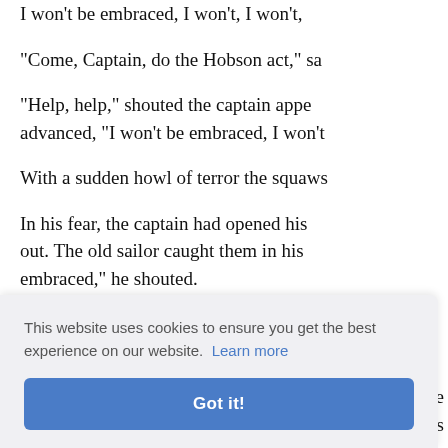I won't be embraced, I won't, I won't,
"Come, Captain, do the Hobson act," sa
"Help, help," shouted the captain appe advanced, "I won't be embraced, I won't
With a sudden howl of terror the squaws
In his fear, the captain had opened his out. The old sailor caught them in his embraced," he shouted.
But there was no need of the defiance, movable
ey severe ose ladies
by my a
favorite with the ladies.
[Figure (screenshot): Cookie consent popup overlay with text 'This website uses cookies to ensure you get the best experience on our website. Learn more' and a blue 'Got it!' button.]